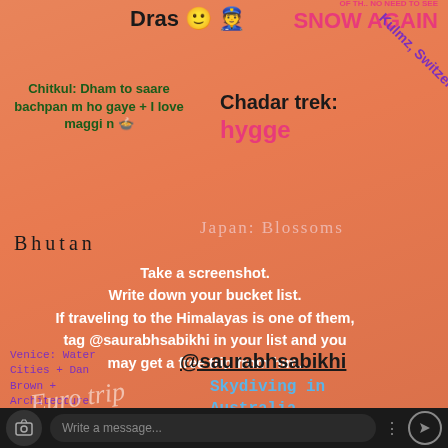Dras 🙂 👮
SNOW AGAIN
Chitkul: Dham to saare bachpan m ho gaye + I love maggi n 🍲
Chadar trek: hygge
Kulmz, Switzerland
Bhutan
Japan: Blossoms
Seminyak, Bali
Take a screenshot. Write down your bucket list. If traveling to the Himalayas is one of them, tag @saurabhsabikhi in your list and you may get a free trip from him.
Venice: Water Cities + Dan Brown + Architecture
@saurabhsabikhi
Euro trip
Skydiving in Australia